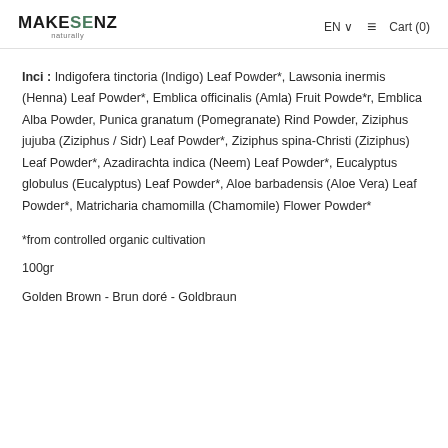MAKESENZ naturally | EN | Cart (0)
Inci : Indigofera tinctoria (Indigo) Leaf Powder*, Lawsonia inermis (Henna) Leaf Powder*, Emblica officinalis (Amla) Fruit Powde*r, Emblica Alba Powder, Punica granatum (Pomegranate) Rind Powder, Ziziphus jujuba (Ziziphus / Sidr) Leaf Powder*, Ziziphus spina-Christi (Ziziphus) Leaf Powder*, Azadirachta indica (Neem) Leaf Powder*, Eucalyptus globulus (Eucalyptus) Leaf Powder*, Aloe barbadensis (Aloe Vera) Leaf Powder*, Matricharia chamomilla (Chamomile) Flower Powder*
*from controlled organic cultivation
100gr
Golden Brown - Brun doré - Goldbraun